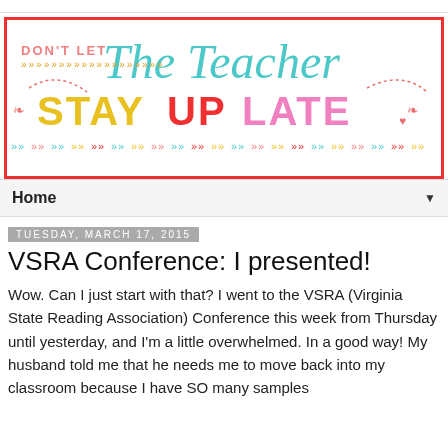[Figure (illustration): Blog banner for 'Don't Let The Teacher Stay Up Late' with colorful decorative text on white background with red border, featuring pink, teal, yellow, red, and pink lettering with arrow decorations]
Home
Tuesday, March 17, 2015
VSRA Conference: I presented!
Wow. Can I just start with that? I went to the VSRA (Virginia State Reading Association) Conference this week from Thursday until yesterday, and I'm a little overwhelmed. In a good way! My husband told me that he needs me to move back into my classroom because I have SO many samples